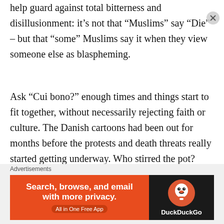help guard against total bitterness and disillusionment: it's not that “Muslims” say “Die” – but that “some” Muslims say it when they view someone else as blaspheming.
Ask “Cui bono?” enough times and things start to fit together, without necessarily rejecting faith or culture. The Danish cartoons had been out for months before the protests and death threats really started getting underway. Who stirred the pot? Why?
While conspiracy thinking is a regional fixation, understanding social movements – in the West,
Advertisements
[Figure (other): DuckDuckGo advertisement banner: orange left panel with text 'Search, browse, and email with more privacy. All in One Free App', dark right panel with DuckDuckGo duck logo and 'DuckDuckGo' text.]